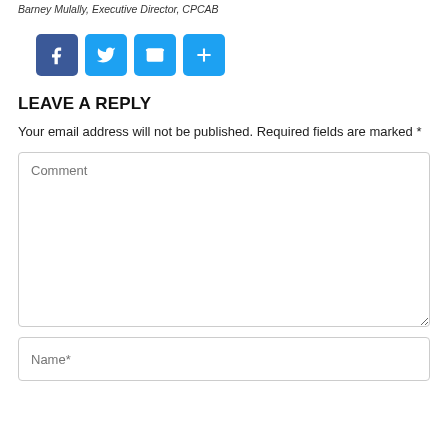Barney Mulally, Executive Director, CPCAB
[Figure (other): Social share buttons: Facebook (blue), Twitter (blue), Mail (blue), Plus/share (blue)]
LEAVE A REPLY
Your email address will not be published. Required fields are marked *
Comment
Name*